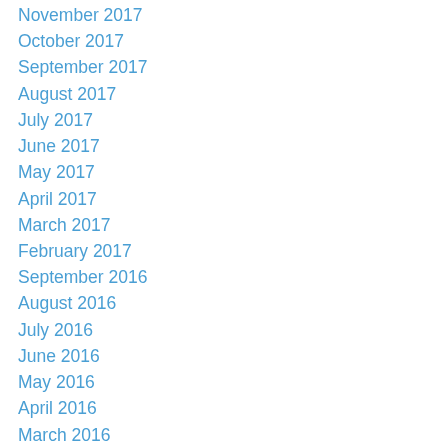November 2017
October 2017
September 2017
August 2017
July 2017
June 2017
May 2017
April 2017
March 2017
February 2017
September 2016
August 2016
July 2016
June 2016
May 2016
April 2016
March 2016
February 2016
January 2016
December 2015